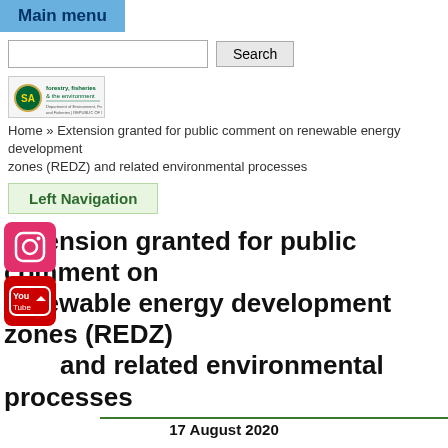Main menu
Search
[Figure (logo): South Africa Department of Forestry, Fisheries and the Environment logo]
Home » Extension granted for public comment on renewable energy development zones (REDZ) and related environmental processes
Left Navigation
Extension granted for public comment on renewable energy development zones (REDZ) and related environmental processes
17 August 2020
ision has been granted to 4 September 2020 for public comment on graphical areas identified as renewable energy development zones for wind and solar, and required environmental authorisation es.
ries of government notices published in July, the Minister of nent, Forestry and Fisheries, Ms Barbara Creecy, had called for public input as part of the public consultation process on the amendment of procedures to be followed in applying for, or deciding on, environmental